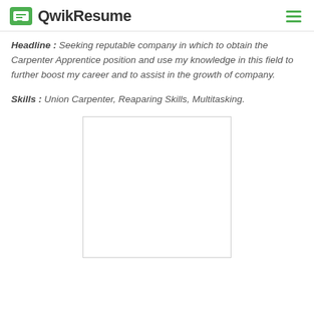QwikResume
Headline : Seeking reputable company in which to obtain the Carpenter Apprentice position and use my knowledge in this field to further boost my career and to assist in the growth of company.
Skills : Union Carpenter, Reaparing Skills, Multitasking.
[Figure (other): Empty white rectangle representing a resume preview placeholder with a light grey border]